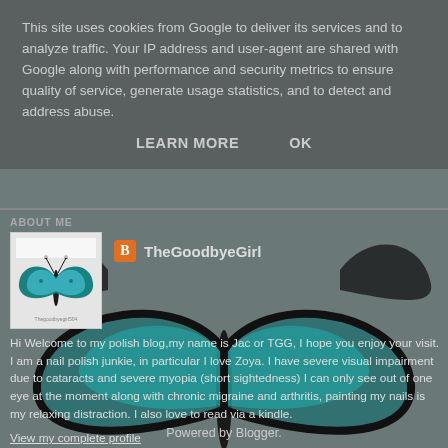This site uses cookies from Google to deliver its services and to analyze traffic. Your IP address and user-agent are shared with Google along with performance and security metrics to ensure quality of service, generate usage statistics, and to detect and address abuse.
LEARN MORE    OK
ABOUT ME
[Figure (photo): Blue butterfly avatar photo for TheGoodbyeGirl blog profile]
TheGoodbyeGirl
Hi Welcome to my polish blog,my name is Jac or TGG, I hope you enjoy your visit. I am a nail polish junkie, in particular I love Zoya. I have severe visual impairment due to cataracts and severe myopia (short sightedness) I can only see out of one eye at the moment along with chronic migraine and arthritis, painting my nails is my relaxing distraction. I also love to read via a kindle.
View my complete profile
[Figure (photo): Blue and black butterfly background illustration]
Powered by Blogger.